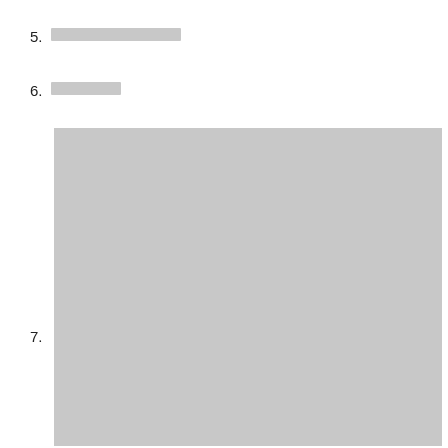5. [redacted text]
6. [redacted text]
[Figure (other): Large gray placeholder/redacted image block occupying most of the lower portion of the page]
7.